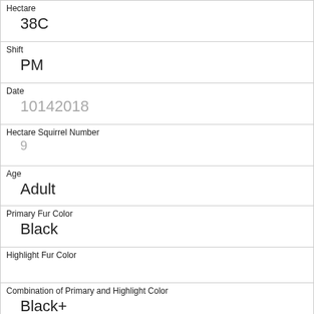| Hectare | 38C |
| Shift | PM |
| Date | 10142018 |
| Hectare Squirrel Number | 9 |
| Age | Adult |
| Primary Fur Color | Black |
| Highlight Fur Color |  |
| Combination of Primary and Highlight Color | Black+ |
| Color notes |  |
| Location | Ground Plane |
| Above Ground Sighter Measurement |  |